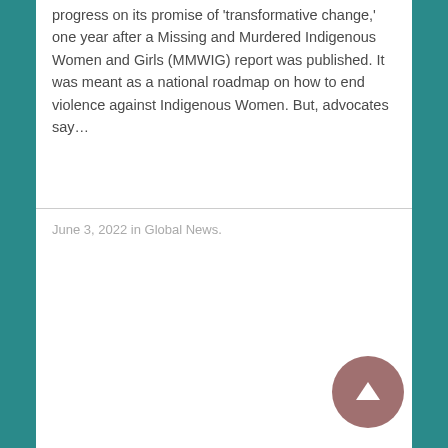progress on its promise of 'transformative change,' one year after a Missing and Murdered Indigenous Women and Girls (MMWIG) report was published. It was meant as a national roadmap on how to end violence against Indigenous Women. But, advocates say…
June 3, 2022 in Global News.
[Figure (other): Scroll-to-top circular button with upward arrow, mauve/rose color]